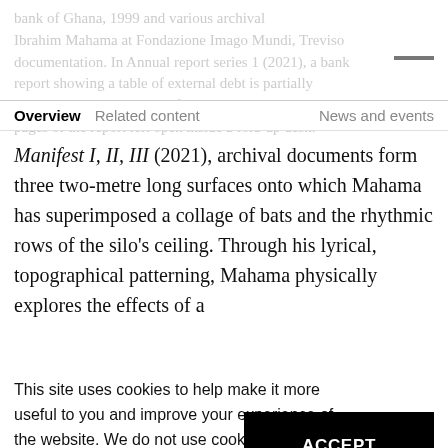bank of Ghana, 1999 and various archival Ibrahim Mahama at Fondazione Imago Mundi, Treviso documentation. In Annual report series 1 (2021), a bank report showing a table of external debt is partially from the centre two pages of the report left open inside a fold-up desk.
Overview | Related content | News and events
Manifest I, II, III (2021), archival documents form three two-metre long surfaces onto which Mahama has superimposed a collage of bats and the rhythmic rows of the silo's ceiling. Through his lyrical, topographical patterning, Mahama physically explores the effects of a
This site uses cookies to help make it more useful to you and improve your experience of the website. We do not use cookies to offer personalised marketing.
By continuing to use our site, you consent to our use of cookies and our privacy policy.